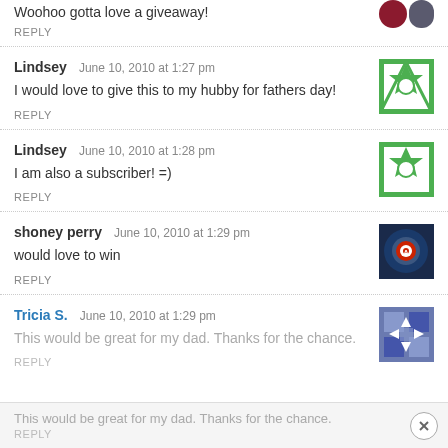Woohoo gotta love a giveaway!
REPLY
Lindsey   June 10, 2010 at 1:27 pm
I would love to give this to my hubby for fathers day!
REPLY
Lindsey   June 10, 2010 at 1:28 pm
I am also a subscriber! =)
REPLY
shoney perry   June 10, 2010 at 1:29 pm
would love to win
REPLY
Tricia S.   June 10, 2010 at 1:29 pm
This would be great for my dad. Thanks for the chance.
REPLY